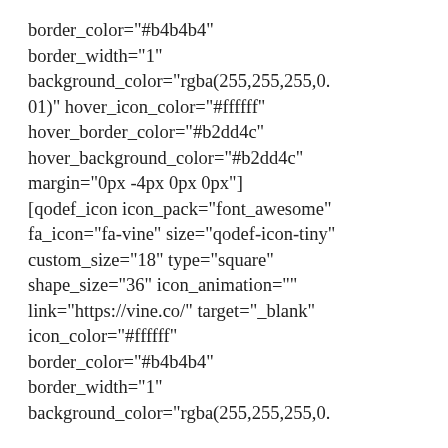border_color="#b4b4b4"
border_width="1"
background_color="rgba(255,255,255,0.01)" hover_icon_color="#ffffff"
hover_border_color="#b2dd4c"
hover_background_color="#b2dd4c"
margin="0px -4px 0px 0px"]
[qodef_icon icon_pack="font_awesome"
fa_icon="fa-vine" size="qodef-icon-tiny"
custom_size="18" type="square"
shape_size="36" icon_animation=""
link="https://vine.co/" target="_blank"
icon_color="#ffffff"
border_color="#b4b4b4"
border_width="1"
background_color="rgba(255,255,255,0.